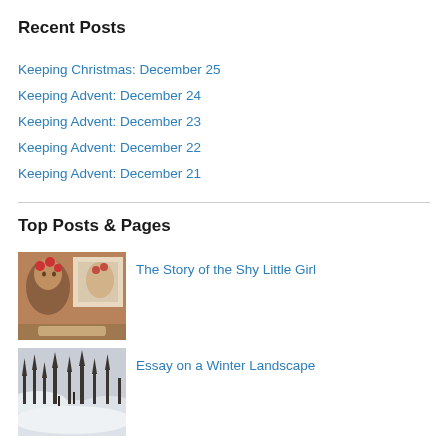Recent Posts
Keeping Christmas: December 25
Keeping Advent: December 24
Keeping Advent: December 23
Keeping Advent: December 22
Keeping Advent: December 21
Top Posts & Pages
[Figure (photo): Photo of a person with red hair curlers looking in a mirror]
The Story of the Shy Little Girl
[Figure (photo): Winter landscape photo with snow and bare trees]
Essay on a Winter Landscape